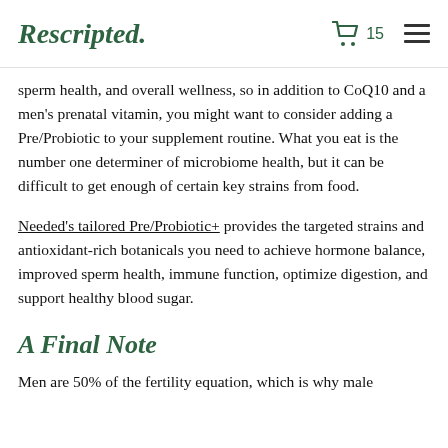Rescripted.
sperm health, and overall wellness, so in addition to CoQ10 and a men's prenatal vitamin, you might want to consider adding a Pre/Probiotic to your supplement routine. What you eat is the number one determiner of microbiome health, but it can be difficult to get enough of certain key strains from food.
Needed's tailored Pre/Probiotic+ provides the targeted strains and antioxidant-rich botanicals you need to achieve hormone balance, improved sperm health, immune function, optimize digestion, and support healthy blood sugar.
A Final Note
Men are 50% of the fertility equation, which is why male